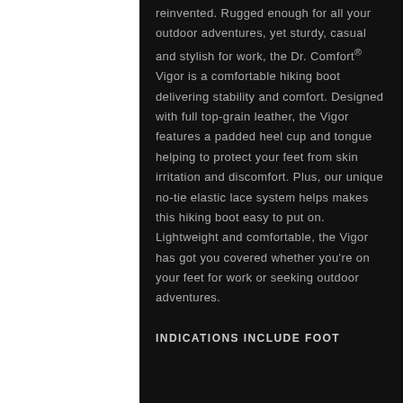reinvented. Rugged enough for all your outdoor adventures, yet sturdy, casual and stylish for work, the Dr. Comfort® Vigor is a comfortable hiking boot delivering stability and comfort. Designed with full top-grain leather, the Vigor features a padded heel cup and tongue helping to protect your feet from skin irritation and discomfort. Plus, our unique no-tie elastic lace system helps makes this hiking boot easy to put on. Lightweight and comfortable, the Vigor has got you covered whether you're on your feet for work or seeking outdoor adventures.
INDICATIONS INCLUDE FOOT